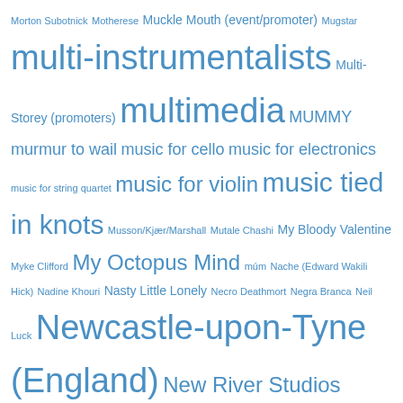[Figure (other): Tag cloud / word cloud of music-related terms, artist names, and locations rendered in varying font sizes in blue color. Larger font size indicates higher frequency/importance. Terms include: Morton Subotnick, Motherese, Muckle Mouth (event/promoter), Mugstar, multi-instrumentalists, Multi-Storey (promoters), multimedia, MUMMY, murmur to wail, music for cello, music for electronics, music for string quartet, music for violin, music tied in knots, Musson/Kjaer/Marshall, Mutale Chashi, My Bloody Valentine, Myke Clifford, My Octopus Mind, mum, Nache (Edward Wakili Hick), Nadine Khouri, Nasty Little Lonely, Necro Deathmort, Negra Branca, Neil Luck, Newcastle-upon-Tyne (England), New River Studios (promoter/venue), New Weird Britain, New York City (USA), New York State (USA), Nic France, Nick Costley-White, Nick Hayes, Nicki Maher, Nick Roth, Nick Walters, Nicola Baigent, Nico Muhly, Niels Bakx, Nik Colk Void, Nils Frahm, No-Man, Noah Max, No Cars, Noel Storey, Noel Taylor, Nonclassical (event/promoter/record label), North Sea Radio Orchestra, Norway, Norwich (England), Nottingham (England), not what it seems, Nubya Garcia, Nerija, Nought, Oakland (California - USA), obituaries, oboe music, Oceansize, Of Arrowe Hill, Oldham (England), Olesya Zdorovetska, Olga Stezhko, Olie Brice, Oliver]